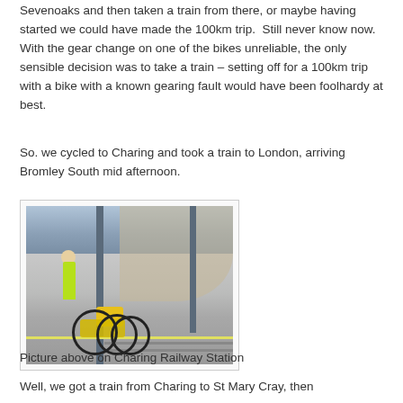Sevenoaks and then taken a train from there, or maybe having started we could have made the 100km trip.  Still never know now.  With the gear change on one of the bikes unreliable, the only sensible decision was to take a train – setting off for a 100km trip with a bike with a known gearing fault would have been foolhardy at best.
So. we cycled to Charing and took a train to London, arriving Bromley South mid afternoon.
[Figure (photo): A cyclist in a yellow/green high-visibility jacket standing on a railway station platform (Charing Railway Station) with a loaded touring bicycle with yellow panniers. The platform and railway tracks are visible, along with a brick arch in the background.]
Picture above on Charing Railway Station
Well, we got a train from Charing to St Mary Cray, then